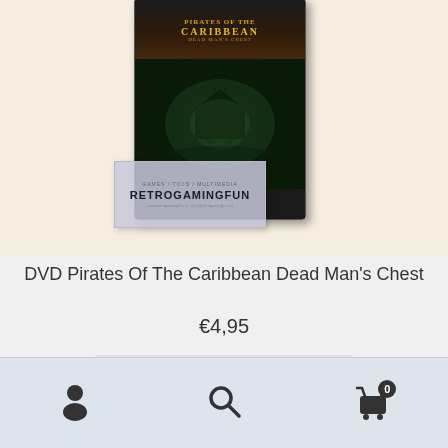[Figure (photo): DVD case for Pirates of the Caribbean Dead Man's Chest, standing upright on a light beige background, with a RetroGamingFun store label in front of it]
DVD Pirates Of The Caribbean Dead Man’s Chest
€4,95
In winkelmand
[Figure (other): Bottom navigation bar with user account icon, search icon, and cart icon showing badge with 0]